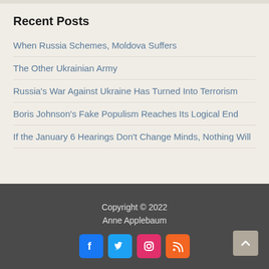Recent Posts
When Russia Schemes, Moldova Suffers
The Other Ukrainian Army
Russia's War Against Ukraine Has Turned Into Terrorism
Boris Johnson's Fake Populism Reaches Its Logical End
If the January 6 Hearings Don't Change Minds, Nothing Will
Copyright © 2022 Anne Applebaum